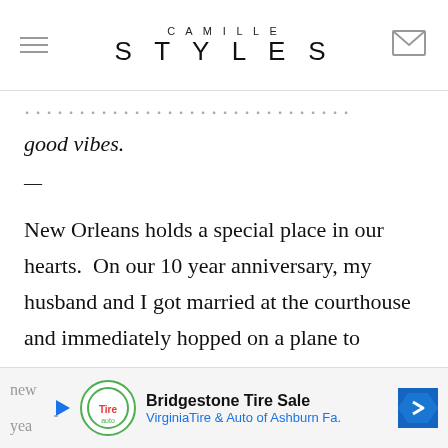CAMILLE STYLES
good vibes.
—
New Orleans holds a special place in our hearts.  On our 10 year anniversary, my husband and I got married at the courthouse and immediately hopped on a plane to celebrate our nuptials there.  It quickly became our favorite destination outside of our hometown of Austin.  After countless trips and
Bridgestone Tire Sale — VirginiaTire & Auto of Ashburn Fa.